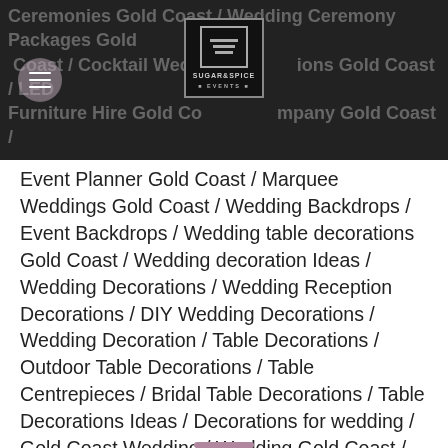Ceremonies Gold Coast / Wedding Ceremony Packages Gold Coast / Cocktail Wedding Receptions Gold Coast / LED Furniture Hire Gold Coast / Photo Booth Company Gold Coast / SUGAR&SPICE EVENTS
Event Planner Gold Coast / Marquee Weddings Gold Coast / Wedding Backdrops / Event Backdrops / Wedding table decorations Gold Coast / Wedding decoration Ideas / Wedding Decorations / Wedding Reception Decorations / DIY Wedding Decorations / Wedding Decoration / Table Decorations / Outdoor Table Decorations / Table Centrepieces / Bridal Table Decorations / Table Decorations Ideas / Decorations for wedding / Gold Coast Wedding / Wedding Gold Coast / Wedding Venue Gold Coast / Wedding Decoration Hire / Wedding Receptions / Party Hire Gold Coast / Gold Coast Beach Weddings / Beach Wedding Ideas / Beach Wedding / Gold Coast Beach Wedding / Wedding Decorator Gold Coast / Rustic wedding / Vintage Wedding / Winery Wedding